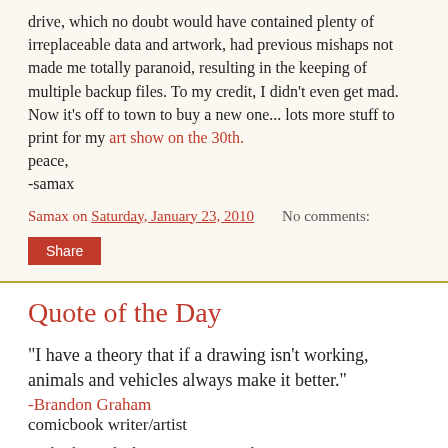drive, which no doubt would have contained plenty of irreplaceable data and artwork, had previous mishaps not made me totally paranoid, resulting in the keeping of multiple backup files. To my credit, I didn't even get mad. Now it's off to town to buy a new one... lots more stuff to print for my art show on the 30th.
peace,
-samax
Samax on Saturday, January 23, 2010    No comments:
Share
Quote of the Day
"I have a theory that if a drawing isn't working, animals and vehicles always make it better."
-Brandon Graham
comicbook writer/artist
Multiple Warhedz, King City, Escalator